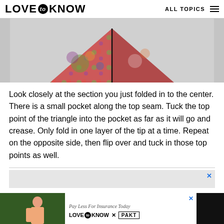LOVE to KNOW   ALL TOPICS
[Figure (photo): Colorful patterned paper folded into a triangular origami shape, photographed against a light gray background, showing the top portion with decorative floral/geometric print.]
Look closely at the section you just folded in to the center. There is a small pocket along the top seam. Tuck the top point of the triangle into the pocket as far as it will go and crease. Only fold in one layer of the tip at a time. Repeat on the opposite side, then flip over and tuck in those top points as well.
[Figure (photo): Advertisement banner with light gray background and close (X) button in top right corner.]
[Figure (photo): Bottom advertisement bar: left side shows a woman in an outdoor/garden setting, right side shows white background with text 'Pay Less For Insurance Today' and 'LOVE to KNOW x PAKT' logo.]